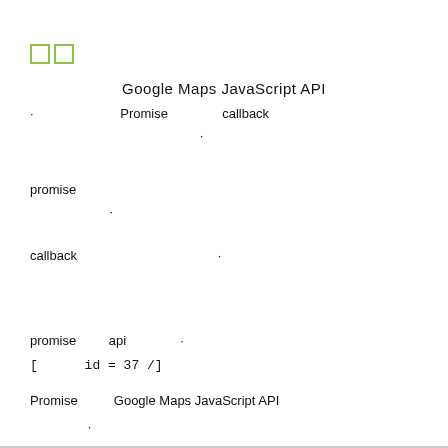[Figure (other): Two small green outlined squares icon]
Google Maps JavaScript API
· Promise callback .
promise · .
callback .
promise api .
[ id = 37 /]
Promise Google Maps JavaScript API .